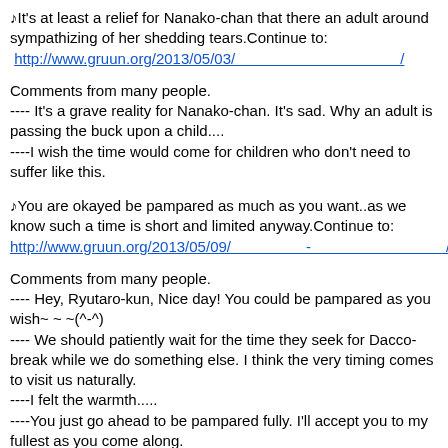♪It's at least a relief for Nanako-chan that there an adult around sympathizing of her shedding tears.Continue to: http://www.gruun.org/2013/05/03/xxxxxxxxxxxxxxxxxxxxxxx/
Comments from many people.
---- It's a grave reality for Nanako-chan. It's sad. Why an adult is passing the buck upon a child....
----I wish the time would come for children who don't need to suffer like this.
♪You are okayed be pampared as much as you want..as we know such a time is short and limited anyway.Continue to: http://www.gruun.org/2013/05/09/xxxxxx-xxxxxxxxxxxxxxxx/
Comments from many people.
---- Hey, Ryutaro-kun, Nice day! You could be pampared as you wish~ ~ ~(^-^)
---- We should patiently wait for the time they seek for Dacco-break while we do something else. I think the very timing comes to visit us naturally.
----I felt the warmth.....
----You just go ahead to be pampared fully. I'll accept you to my fullest as you come along.